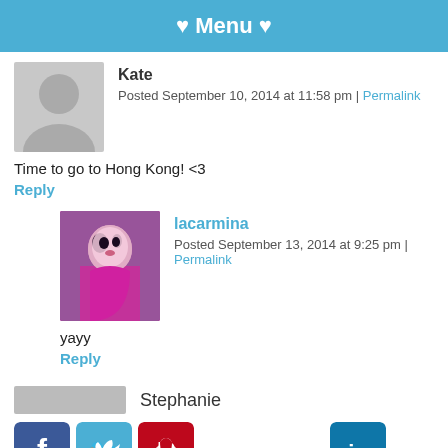♥ Menu ♥
Kate
Posted September 10, 2014 at 11:58 pm | Permalink
Time to go to Hong Kong! <3
Reply
lacarmina
Posted September 13, 2014 at 9:25 pm | Permalink
yayy
Reply
Stephanie